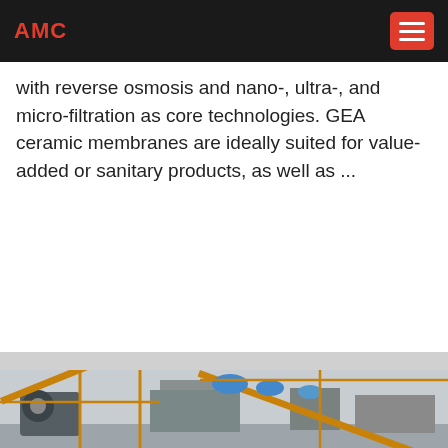AMC
with reverse osmosis and nano-, ultra-, and micro-filtration as core technologies. GEA ceramic membranes are ideally suited for value-added or sanitary products, as well as ...
[Figure (screenshot): Blue circular arrow button (navigation) and Live Chat speech bubble widget in blue]
[Figure (photo): Industrial mining/crushing machinery with conveyor belts, yellow scaffolding, and large processing equipment]